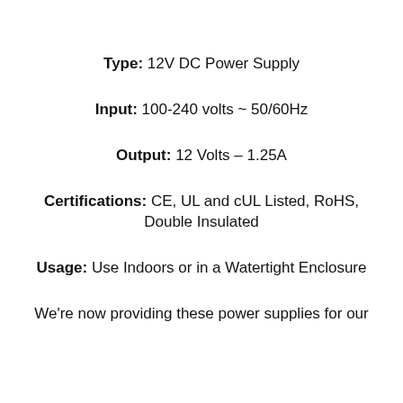Type: 12V DC Power Supply
Input: 100-240 volts ~ 50/60Hz
Output: 12 Volts – 1.25A
Certifications: CE, UL and cUL Listed, RoHS, Double Insulated
Usage: Use Indoors or in a Watertight Enclosure
We're now providing these power supplies for our